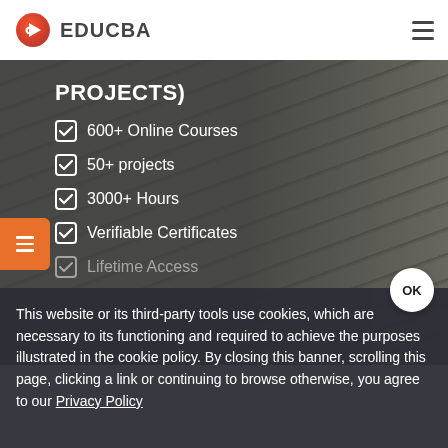[Figure (logo): EDUCBA logo with red play button icon and wordmark]
PROJECTS)
600+ Online Courses
50+ projects
3000+ Hours
Verifiable Certificates
Lifetime Access
This website or its third-party tools use cookies, which are necessary to its functioning and required to achieve the purposes illustrated in the cookie policy. By closing this banner, scrolling this page, clicking a link or continuing to browse otherwise, you agree to our Privacy Policy